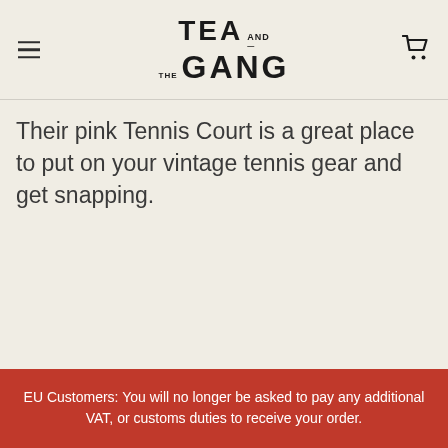TEA AND THE GANG
Their pink Tennis Court is a great place to put on your vintage tennis gear and get snapping.
EU Customers: You will no longer be asked to pay any additional VAT, or customs duties to receive your order.